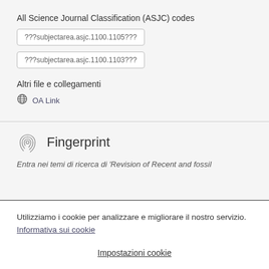All Science Journal Classification (ASJC) codes
???subjectarea.asjc.1100.1105???
???subjectarea.asjc.1100.1103???
Altri file e collegamenti
OA Link
Fingerprint
Entra nei temi di ricerca di 'Revision of Recent and fossil
Utilizziamo i cookie per analizzare e migliorare il nostro servizio.  Informativa sui cookie
Impostazioni cookie